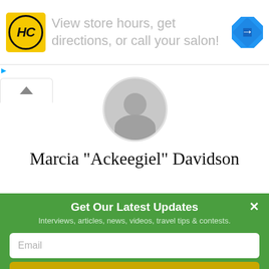[Figure (screenshot): Advertisement banner with HC logo, text 'View store hours, get directions, or call your salon!' and a blue diamond navigation arrow icon]
[Figure (photo): Circular default user avatar placeholder (gray silhouette on gray circle background)]
Marcia "Ackeegiel" Davidson
Get Our Latest Updates
Interviews, articles, news, videos, travel tips & contests.
Email
SIGN UP